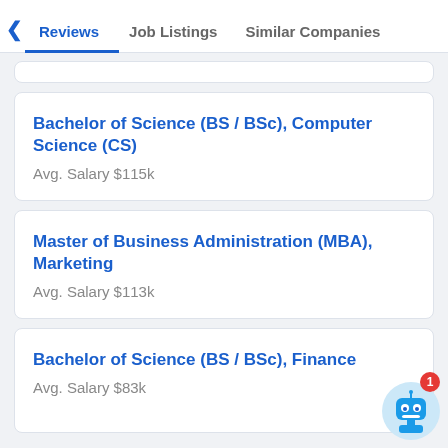Reviews | Job Listings | Similar Companies
Bachelor of Science (BS / BSc), Computer Science (CS)
Avg. Salary $115k
Master of Business Administration (MBA), Marketing
Avg. Salary $113k
Bachelor of Science (BS / BSc), Finance
Avg. Salary $83k